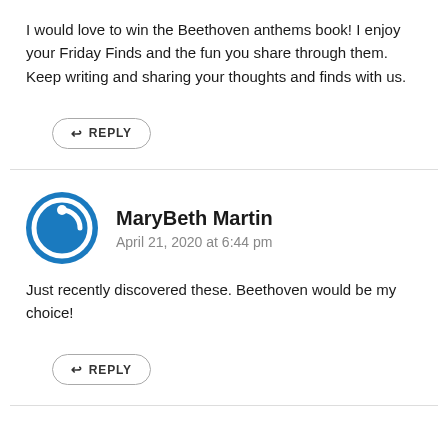I would love to win the Beethoven anthems book! I enjoy your Friday Finds and the fun you share through them. Keep writing and sharing your thoughts and finds with us.
↩ REPLY
MaryBeth Martin
April 21, 2020 at 6:44 pm
Just recently discovered these. Beethoven would be my choice!
↩ REPLY